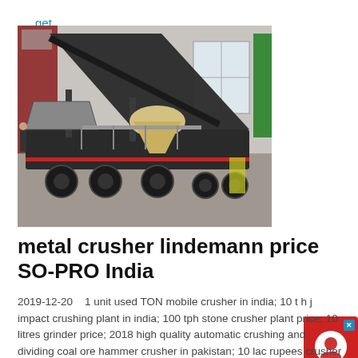get price
[Figure (photo): Mobile crushing plant / metal crusher machine on a trailer, photographed indoors in a warehouse or factory setting. The machine is large and dark-colored with conveyor belts.]
[Figure (other): Chat Now widget — red circular icon with headset/person silhouette on red background, with a dark chevron-shaped bottom section labeled 'Chat Now' in white text. Small blue X close button in corner.]
metal crusher lindemann price SO-PRO India
2019-12-20    1 unit used TON mobile crusher in india; 10 t h j impact crushing plant in india; 100 tph stone crusher plant price; 10 litres grinder price; 2018 high quality automatic crushing and dividing coal ore hammer crusher in pakistan; 10 lac rupees crusher business in india; 100tph rotary drum washer for alluvial gold iron ore processing in india